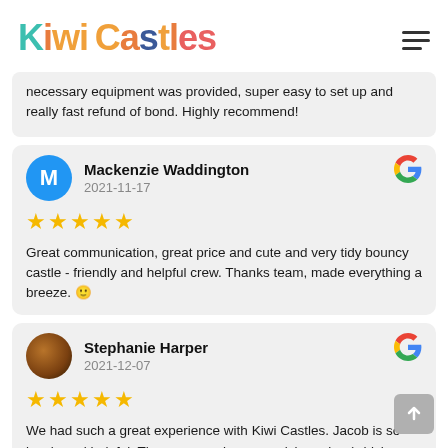KiwiCastles
necessary equipment was provided, super easy to set up and really fast refund of bond. Highly recommend!
Mackenzie Waddington
2021-11-17
★★★★★
Great communication, great price and cute and very tidy bouncy castle - friendly and helpful crew. Thanks team, made everything a breeze. 🙂
Stephanie Harper
2021-12-07
★★★★★
We had such a great experience with Kiwi Castles. Jacob is so lovely and helpful. There was an issue on pick up day (which